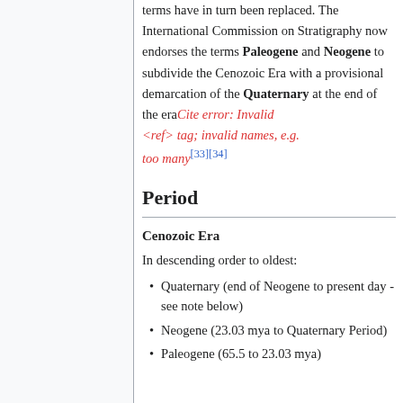terms have in turn been replaced. The International Commission on Stratigraphy now endorses the terms Paleogene and Neogene to subdivide the Cenozoic Era with a provisional demarcation of the Quaternary at the end of the era Cite error: Invalid <ref> tag; invalid names, e.g. too many [33][34]
Period
Cenozoic Era
In descending order to oldest:
Quaternary (end of Neogene to present day - see note below)
Neogene (23.03 mya to Quaternary Period)
Paleogene (65.5 to 23.03 mya)